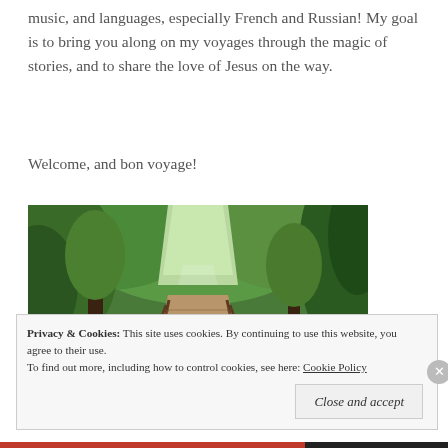music, and languages, especially French and Russian! My goal is to bring you along on my voyages through the magic of stories, and to share the love of Jesus on the way.
Welcome, and bon voyage!
[Figure (photo): A wooden boardwalk path through a lush green forest, with trees on both sides and greenery overhead, perspective leading into the distance.]
Privacy & Cookies: This site uses cookies. By continuing to use this website, you agree to their use. To find out more, including how to control cookies, see here: Cookie Policy
Close and accept